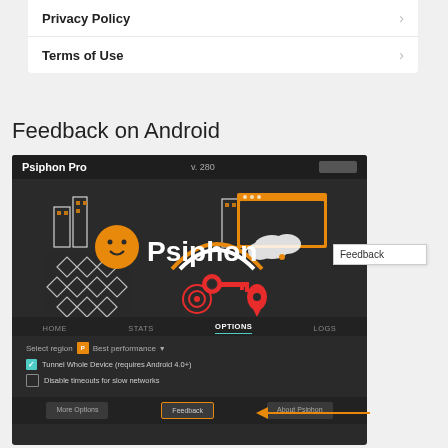Privacy Policy
Terms of Use
Feedback on Android
[Figure (screenshot): Psiphon Pro Android app screenshot showing the OPTIONS tab with Select region set to Best performance, Tunnel Whole Device checked, Disable timeouts for slow networks unchecked, and the Feedback button highlighted with an orange border and callout arrow pointing to a 'Feedback' label.]